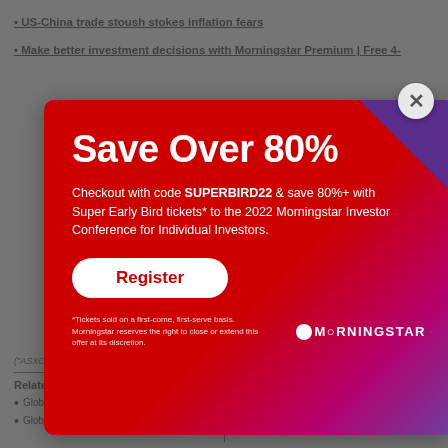US-China trade stoush stokes inflation fears
Make better investment decisions with Morningstar Premium | Free 4-
[Figure (screenshot): Modal popup advertisement for Morningstar conference. Red gradient background with purple corner. Title: 'Save Over 80%'. Body text: 'Checkout with code SUPERBIRD22 & save 80%+ with Super Early Bird tickets* to the 2022 Morningstar Investor Conference for Individual Investors.' Register button. Disclaimer text and Morningstar logo.]
("ASXO"). The article is current as at date of publication.
Related Articles
Global Market Report - 23 October
Global Market Report - 22 October
Related Videos
Mornings ... to begin
Sumr...